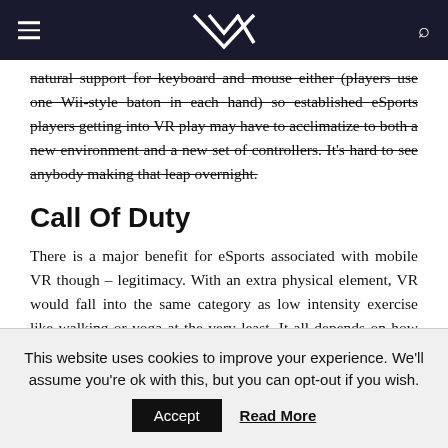VR (logo) — navigation header with hamburger menu and search icon
natural support for keyboard and mouse either (players use one Wii-style baton in each hand) so established eSports players getting into VR play may have to acclimatize to both a new environment and a new set of controllers. It's hard to see anybody making that leap overnight.
Call Of Duty
There is a major benefit for eSports associated with mobile VR though – legitimacy. With an extra physical element, VR would fall into the same category as low intensity exercise like walking or yoga at the very least. It all depends on how much running a player
This website uses cookies to improve your experience. We'll assume you're ok with this, but you can opt-out if you wish. Accept  Read More